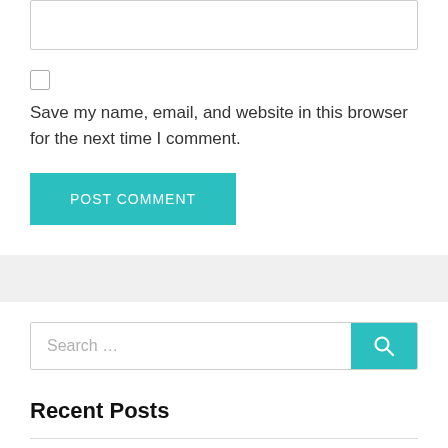[Figure (screenshot): Textarea input box at the top of the page]
Save my name, email, and website in this browser for the next time I comment.
POST COMMENT
[Figure (screenshot): Search bar with teal search button]
Recent Posts
Cloanto C64 Forever 9.2.13.0 Crack + Addition Key